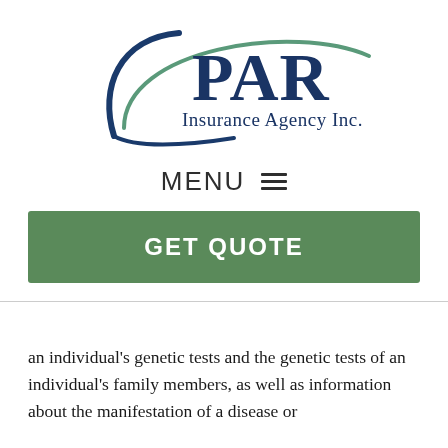[Figure (logo): PAR Insurance Agency Inc. logo — dark blue arc and swoosh forming an oval/bracket shape to the left of large 'PAR' text in dark navy, with 'Insurance Agency Inc.' in smaller serif text below]
MENU ☰
GET QUOTE
an individual's genetic tests and the genetic tests of an individual's family members, as well as information about the manifestation of a disease or